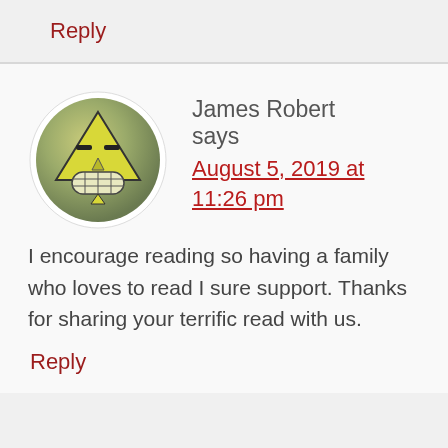Reply
[Figure (illustration): A cartoon avatar icon showing a yellow triangle-shaped face with narrow eyes and a grid-patterned mouth, set on a green-gray circular background.]
James Robert says
August 5, 2019 at 11:26 pm
I encourage reading so having a family who loves to read I sure support. Thanks for sharing your terrific read with us.
Reply